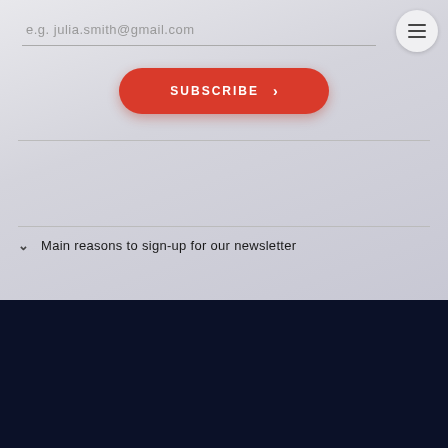e.g. julia.smith@gmail.com
SUBSCRIBE
Main reasons to sign-up for our newsletter
Projects   Token   Topics   About   Contact